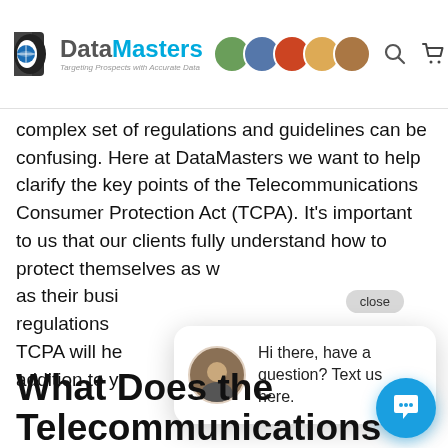DataMasters — Targeting Prospects with Accurate Data
complex set of regulations and guidelines can be confusing. Here at DataMasters we want to help clarify the key points of the Telecommunications Consumer Protection Act (TCPA). It’s important to us that our clients fully understand how to protect themselves as well as their businesses. Understanding the regulations and the TCPA will help in addition to y
What Does the Telecommunications